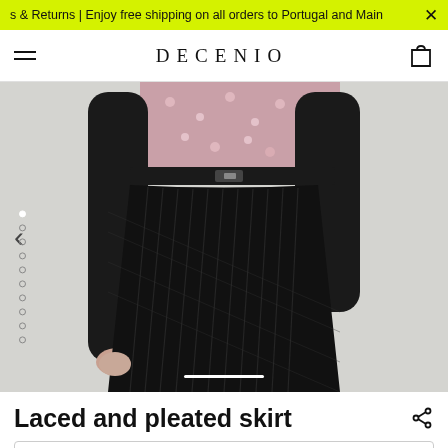s & Returns | Enjoy free shipping on all orders to Portugal and Main ×
DECENIO
[Figure (photo): Model wearing a laced and pleated black midi skirt with a floral top and black belt, shown from waist down. Navigation arrow on left, image dots indicator on left side, white progress bar at bottom.]
Laced and pleated skirt
Cape merino wool and cashmere
Someone in Portugal just bought this!
Add